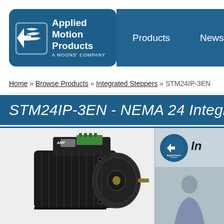[Figure (logo): Applied Motion Products logo - A Moons Company, white text on dark blue rounded rectangle background with stylized wave/flag graphic]
Products   News   Support
Home » Browse Products » Integrated Steppers » STM24IP-3EN
STM24IP-3EN - NEMA 24 Integrated Drive
[Figure (photo): NEMA 24 integrated stepper motor/driver unit, black anodized housing with green terminal block connector on top, front face plate visible with shaft and mounting holes]
[Figure (screenshot): Video thumbnail showing Applied Motion Products logo circle and partial text 'In' visible, with a person below in blue/grey background]